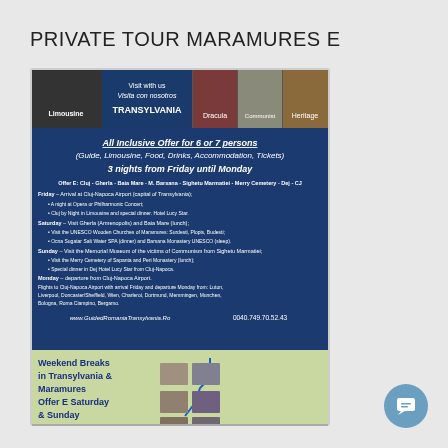PRIVATE TOUR MARAMURES E
[Figure (infographic): Tour advertisement for Private Tour Maramures E showing: top banner with photos of limousine, Transylvania text, Dracula, Communist, Heritage images. Blue background section with text 'All Inclusive Offer for 6 or 7 persons (Guide, Limousine, Food, Drinks, Accommodation, Tickets) 3 nights from Friday until Monday'. Itinerary details for Friday, Saturday, Sunday, Monday. Website www.GuidedRomaniaTransylvania.Ro and phone 0040.749.70.52.43. Bottom section shows a map of the route through Transylvania and Maramures with text 'Weekend Breaks in Transylvania & Maramures Offer E Saturday & Sunday Guided Private Tour with Limousine'.]